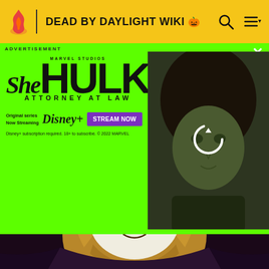DEAD BY DAYLIGHT WIKI
[Figure (screenshot): She-Hulk Attorney At Law advertisement on green background with Marvel Studios branding, Disney+ streaming, and actress photo with refresh icon overlay]
ADVERTISEMENT
Status HUD
Dead by Daylight Wiki
[Figure (illustration): Golden/brown illustrated character face with white decorative elements on dark purple background]